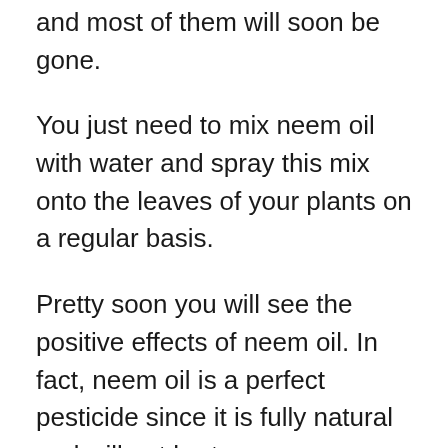and most of them will soon be gone.
You just need to mix neem oil with water and spray this mix onto the leaves of your plants on a regular basis.
Pretty soon you will see the positive effects of neem oil. In fact, neem oil is a perfect pesticide since it is fully natural and will not hurt our environment as many other chemical options do.